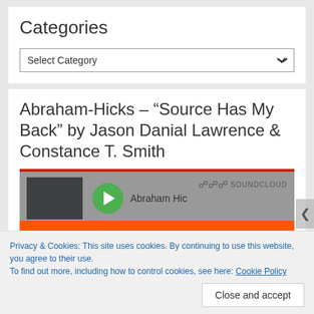Categories
Select Category
Abraham-Hicks – “Source Has My Back” by Jason Danial Lawrence & Constance T. Smith
[Figure (screenshot): SoundCloud embedded player showing Abraham Hicks track with a green play button, SoundCloud logo, and orange 'Play on SoundCloud' button]
Privacy & Cookies: This site uses cookies. By continuing to use this website, you agree to their use.
To find out more, including how to control cookies, see here: Cookie Policy
Close and accept